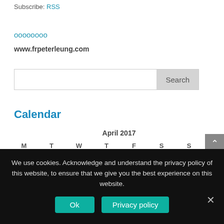Subscribe: RSS
oooooooo
www.frpeterleung.com
Search
Calendar
| M | T | W | T | F | S | S |
| --- | --- | --- | --- | --- | --- | --- |
We use cookies. Acknowledge and understand the privacy policy of this website, to ensure that we give you the best experience on this website.